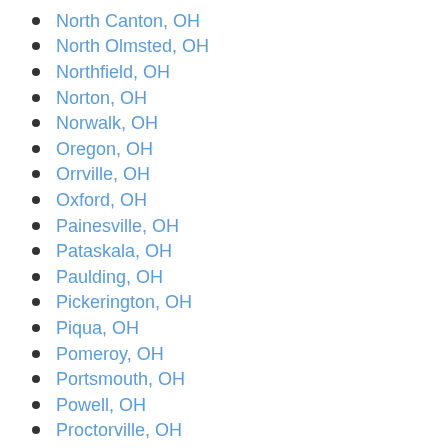North Canton, OH
North Olmsted, OH
Northfield, OH
Norton, OH
Norwalk, OH
Oregon, OH
Orrville, OH
Oxford, OH
Painesville, OH
Pataskala, OH
Paulding, OH
Pickerington, OH
Piqua, OH
Pomeroy, OH
Portsmouth, OH
Powell, OH
Proctorville, OH
Ravenna, OH